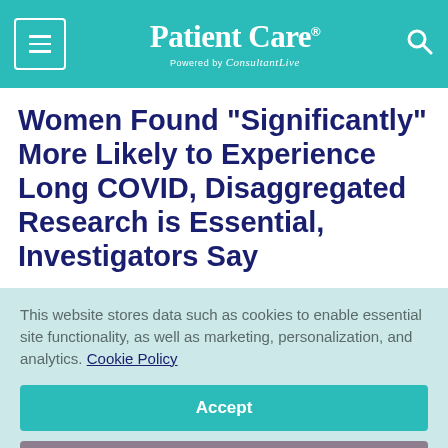Patient Care® Powered by ConsultantLive
Women Found "Significantly" More Likely to Experience Long COVID, Disaggregated Research is Essential, Investigators Say
This website stores data such as cookies to enable essential site functionality, as well as marketing, personalization, and analytics. Cookie Policy
Accept
Deny